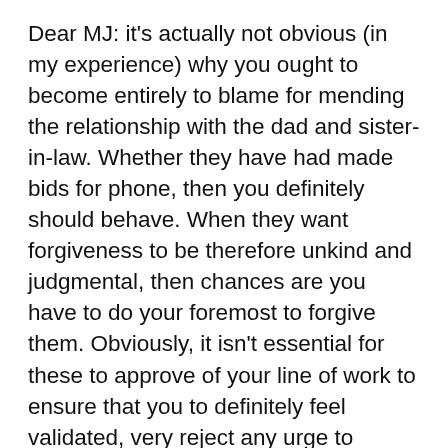Dear MJ: it's actually not obvious (in my experience) why you ought to become entirely to blame for mending the relationship with the dad and sister-in-law. Whether they have had made bids for phone, then you definitely should behave. When they want forgiveness to be therefore unkind and judgmental, then chances are you have to do your foremost to forgive them. Obviously, it isn't essential for these to approve of your line of work to ensure that you to definitely feel validated, very reject any urge to victory the company's popularity.
Issues along these lines will often bring long-range estrangements. An estrangement will affect the entire household system, plus as long as they fundamentally initiated it, an overall total rest — or the refusal become also friendly toward the other person once family members functions require a person together — will be injuring everyone, specifically your years.